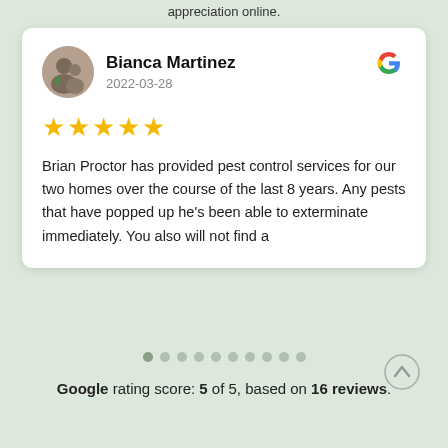appreciation online.
[Figure (screenshot): Google review card for Bianca Martinez dated 2022-03-28 with 5 stars and review text about Brian Proctor pest control services]
Google rating score: 5 of 5, based on 16 reviews.